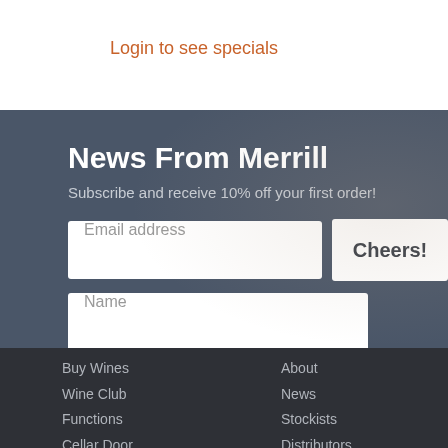Login to see specials
News From Merrill
Subscribe and receive 10% off your first order!
Email address
Cheers!
Name
Buy Wines
Wine Club
Functions
Cellar Door
About
News
Stockists
Distributors